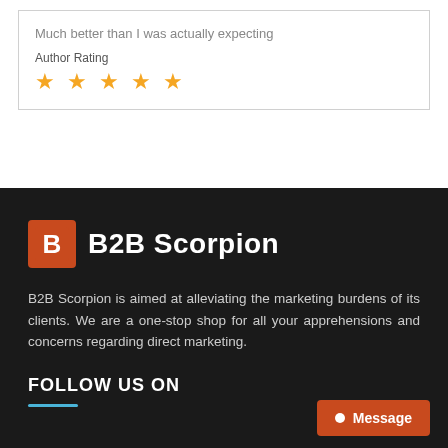Much better than I was actually expecting
Author Rating
[Figure (other): 5 gold star rating icons]
[Figure (logo): B2B Scorpion logo with orange B icon and white bold text reading B2B Scorpion on dark background]
B2B Scorpion is aimed at alleviating the marketing burdens of its clients. We are a one-stop shop for all your apprehensions and concerns regarding direct marketing.
FOLLOW US ON